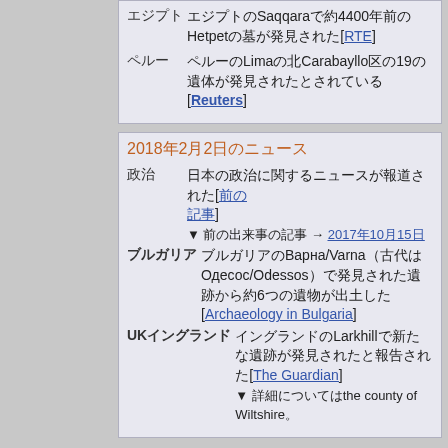エジプト　エジプトのSaqqaraで約4400年前のHetpetの墓が発見された[RTE]
ペルー　ペルーのLimaの北Carabayllo区の19の…[Reuters]
2018年2月2日のニュース
政治　…[前の記事] ▼ 前の出来事の記事 → 2017年10月15日
ブルガリア　ブルガリアのВарна/Varna（古代はОдесос/Odessos）で…6…[Archaeology in Bulgaria]
UKイングランド　イングランドのLarkhill…[The Guardian] ▼ …the county of Wiltshire。